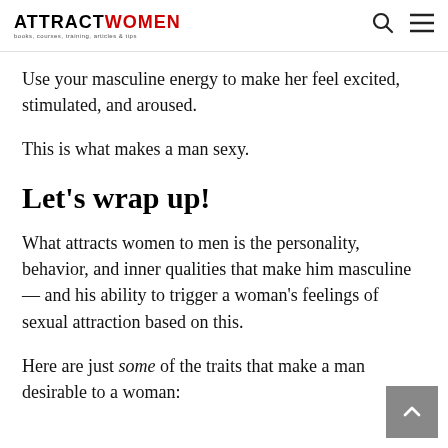ATTRACTWOMEN — books, courses, training, articles & tips
Use your masculine energy to make her feel excited, stimulated, and aroused.
This is what makes a man sexy.
Let's wrap up!
What attracts women to men is the personality, behavior, and inner qualities that make him masculine — and his ability to trigger a woman's feelings of sexual attraction based on this.
Here are just some of the traits that make a man desirable to a woman: